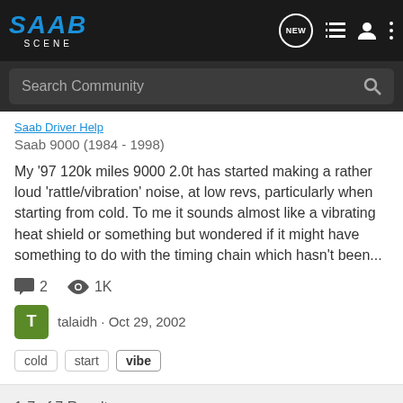SAAB SCENE
Search Community
Saab 9000 (1984 - 1998)
My '97 120k miles 9000 2.0t has started making a rather loud 'rattle/vibration' noise, at low revs, particularly when starting from cold. To me it sounds almost like a vibrating heat shield or something but wondered if it might have something to do with the timing chain which hasn't been...
2  1K
talaidh · Oct 29, 2002
cold  start  vibe
1-7 of 7 Results